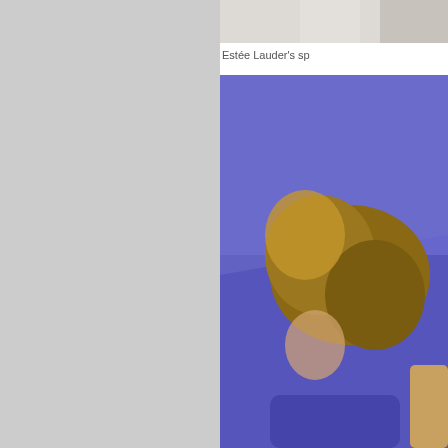[Figure (photo): Partial image visible at top right — appears to show a person in light/white clothing, cropped]
Estée Lauder's sp
[Figure (photo): Photo of a woman with blonde/brown highlighted hair against a purple/blue background, wearing a blue outfit]